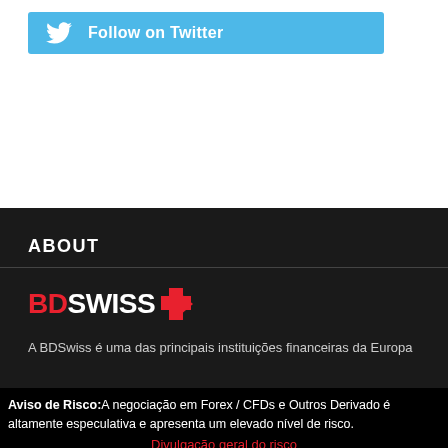[Figure (other): Twitter Follow button with bird icon on light blue background, text 'Follow on Twitter']
ABOUT
[Figure (logo): BDSwiss logo with red 'BD' and white 'SWISS' text followed by a red cross/arrow symbol on dark background]
A BDSwiss é uma das principais instituições financeiras da Europa
Aviso de Risco:A negociação em Forex / CFDs e Outros Derivado é altamente especulativa e apresenta um elevado nível de risco.
Divulgação geral do risco